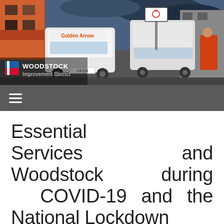[Figure (photo): Street scene in Woodstock with minibus taxis and a Golden Arrow bus, with Woodstock Improvement District logo overlay in bottom left corner]
Essential Services and Woodstock during COVID-19 and the National Lockdown
April 6, 2020
Both WID and the City of Cape Town are hard at work managing the impact of COVID-19 and the lockdown on our community.
Below is a resource of information, tools and resources to assist during this period.